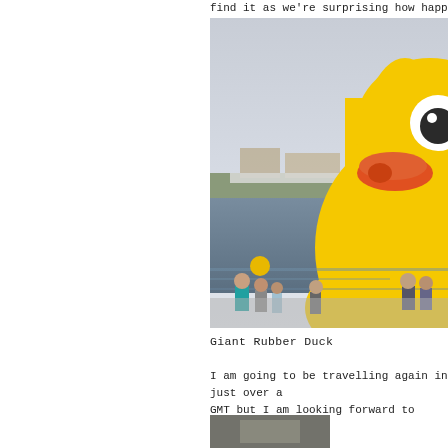find it as we're surprising how happy watching a
[Figure (photo): Large inflatable yellow rubber duck floating on a river/lake, with people standing nearby on the waterfront and buildings visible in the background across the water. Sky is overcast/dusk.]
Giant Rubber Duck
I am going to be travelling again in just over a GMT but I am looking forward to seeing my fa
[Figure (photo): Partial view of another photo at the bottom of the page, cropped.]